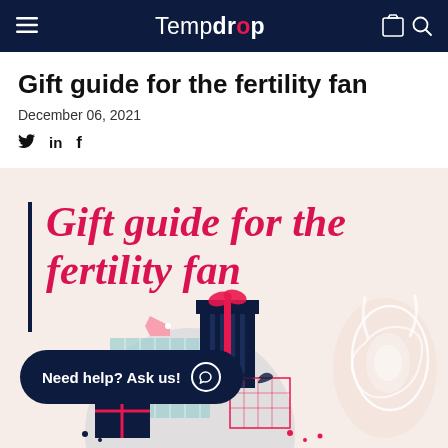Tempdrop
Gift guide for the fertility fan
December 06, 2021
Social share icons: Twitter, LinkedIn, Facebook
[Figure (illustration): Illustrated hero banner with pink background showing 'Gift guide for the fertility fan' in large red italic text with a left border line, plus gift boxes illustration and a Tempdrop wearable device illustration on the right]
Need help? Ask us!